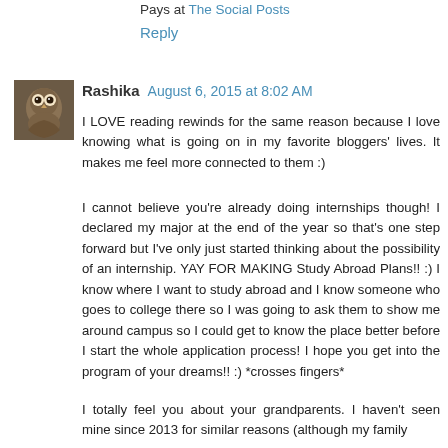Pays at The Social Posts
Reply
[Figure (photo): Small avatar image of an owl or bird]
Rashika   August 6, 2015 at 8:02 AM
I LOVE reading rewinds for the same reason because I love knowing what is going on in my favorite bloggers' lives. It makes me feel more connected to them :)
I cannot believe you’re already doing internships though! I declared my major at the end of the year so that's one step forward but I've only just started thinking about the possibility of an internship. YAY FOR MAKING Study Abroad Plans!! :) I know where I want to study abroad and I know someone who goes to college there so I was going to ask them to show me around campus so I could get to know the place better before I start the whole application process! I hope you get into the program of your dreams!! :) *crosses fingers*
I totally feel you about your grandparents. I haven't seen mine since 2013 for similar reasons (although my family